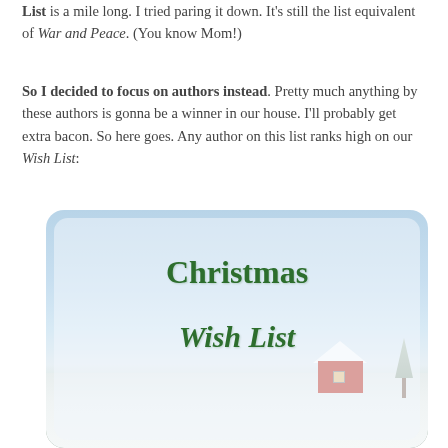List is a mile long. I tried paring it down. It's still the list equivalent of War and Peace. (You know Mom!)
So I decided to focus on authors instead. Pretty much anything by these authors is gonna be a winner in our house. I'll probably get extra bacon. So here goes. Any author on this list ranks high on our Wish List:
[Figure (illustration): A Christmas Wish List image featuring a winter scene with a red barn, bare trees, and snow-covered ground. The text 'Christmas Wish List' appears in green handwriting-style font over a light blue/white card overlay.]